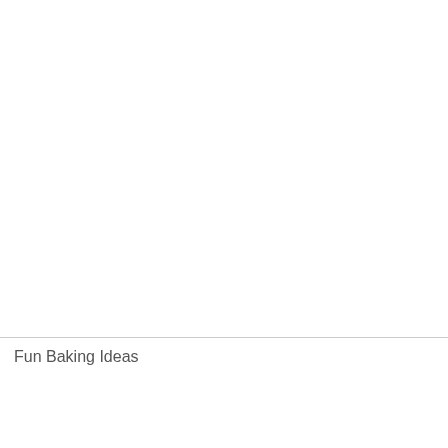Fun Baking Ideas
[Figure (photo): Overhead photo of cupcakes with decorative frosting, vintage/sepia-toned style]
St. Petersburg Chillo 22nd, 2014
We are very happy to be annual Bert Smith St Pe 22nd, 2014. We will be f the General Admission a upcoming event we are What's in a Party Pack y cupcakes (1 flavor of yo napkins to match [...]
Read More